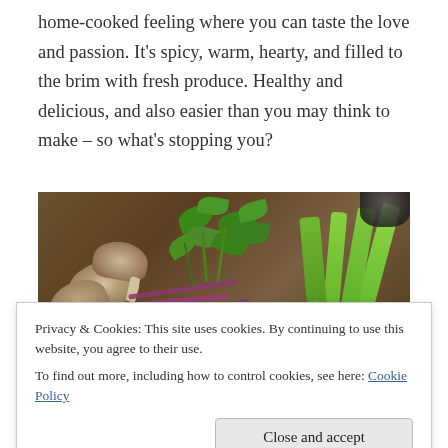home-cooked feeling where you can taste the love and passion. It's spicy, warm, hearty, and filled to the brim with fresh produce. Healthy and delicious, and also easier than you may think to make – so what's stopping you?
[Figure (photo): Fresh vegetables on a wooden cutting board: mushrooms, red onion slices, fresh herbs (cilantro/parsley), and green celery/peppers]
Privacy & Cookies: This site uses cookies. By continuing to use this website, you agree to their use.
To find out more, including how to control cookies, see here: Cookie Policy